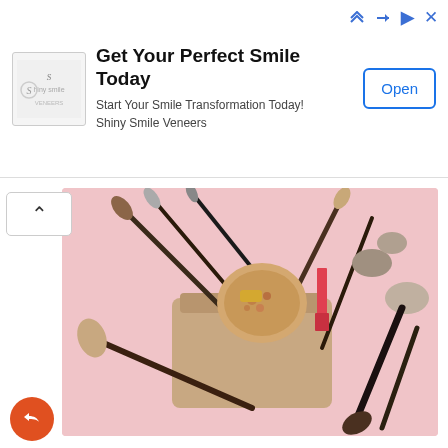[Figure (screenshot): Advertisement banner for Shiny Smile Veneers with logo, headline 'Get Your Perfect Smile Today', subtitle 'Start Your Smile Transformation Today! Shiny Smile Veneers', and an 'Open' button. Ad indicator icons in top right.]
[Figure (photo): Flat lay photo of makeup brushes, powder, lipstick, and various cosmetic products on a pink background, spilling out of a beige makeup bag.]
Fun Viral Beauty Trends To Try
[Figure (photo): Flat lay photo of nail care products including nail polish bottles, gel UV lamp, cuticle sticks, scissors, cotton pads, and two hands with manicured nails on a pink background.]